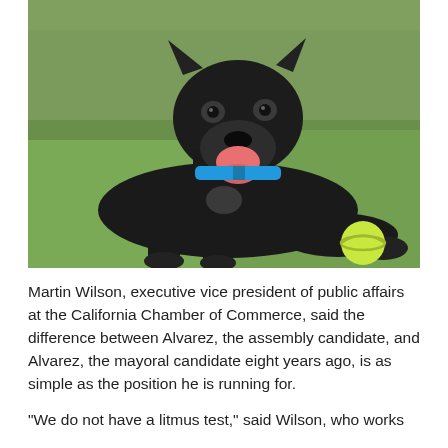[Figure (photo): A black dog with a blue collar lying on green grass with a yellow tennis ball beside it. The dog is smiling with its tongue out.]
Martin Wilson, executive vice president of public affairs at the California Chamber of Commerce, said the difference between Alvarez, the assembly candidate, and Alvarez, the mayoral candidate eight years ago, is as simple as the position he is running for.
"We do not have a litmus test," said Wilson, who works